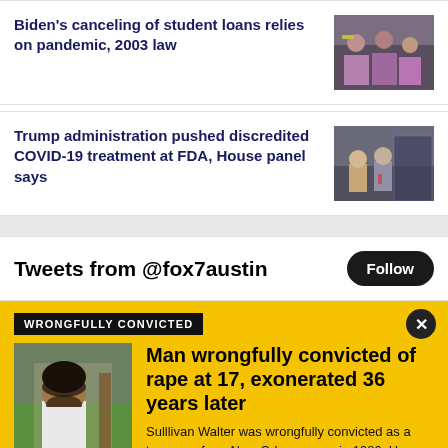Biden's canceling of student loans relies on pandemic, 2003 law
[Figure (photo): People holding purple signs at a rally or protest]
Trump administration pushed discredited COVID-19 treatment at FDA, House panel says
[Figure (photo): Two men in suits speaking at a podium, American flags in background]
Tweets from @fox7austin
Follow
WRONGFULLY CONVICTED
[Figure (photo): Man with beard standing outdoors near a tree, wearing a white t-shirt]
Man wrongfully convicted of rape at 17, exonerated 36 years later
Sulllivan Walter was wrongfully convicted as a teenager for a New Orleans rape in 1986. He was ordered freed after a judge threw out his conviction.